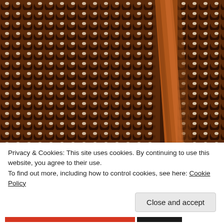[Figure (photo): Close-up photograph of a decorative architectural surface with a repeating pattern of small crescent or scale shapes in dark brown/copper tones, with a lighter diagonal stripe running through the center-right of the image.]
Privacy & Cookies: This site uses cookies. By continuing to use this website, you agree to their use.
To find out more, including how to control cookies, see here: Cookie Policy